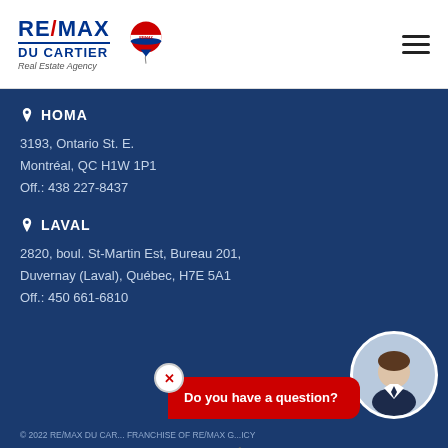[Figure (logo): RE/MAX Du Cartier Real Estate Agency logo with balloon icon]
HOMA
3193, Ontario St. E.
Montréal, QC H1W 1P1
Off.: 438 227-8437
LAVAL
2820, boul. St-Martin Est, Bureau 201, Duvernay (Laval), Québec, H7E 5A1
Off.: 450 661-6810
[Figure (photo): Agent photo in circular frame]
Do you have a question?
© 2022 RE/MAX DU CARTIER. FRANCHISE OF RE/MAX QUEBEC. INDEPENDENT REAL ESTATE AGENCY
POWERED BY centiva